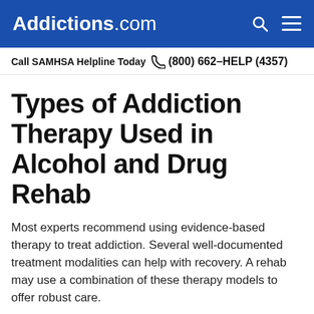Addictions.com
Call SAMHSA Helpline Today  (800) 662-HELP (4357)
Types of Addiction Therapy Used in Alcohol and Drug Rehab
Most experts recommend using evidence-based therapy to treat addiction. Several well-documented treatment modalities can help with recovery. A rehab may use a combination of these therapy models to offer robust care.
Cognitive Behavioral Therapy